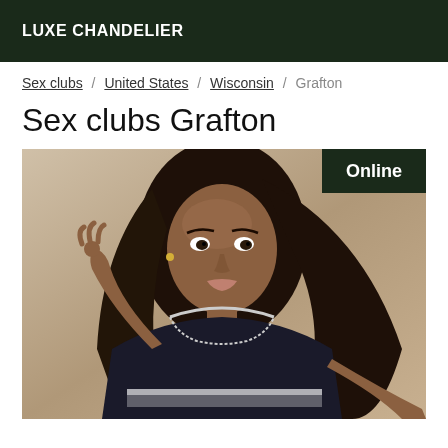LUXE CHANDELIER
Sex clubs / United States / Wisconsin / Grafton
Sex clubs Grafton
[Figure (photo): Profile photo of a young woman wearing a black dress with white lace trim, long brown hair, with an 'Online' badge in the top-right corner of the image.]